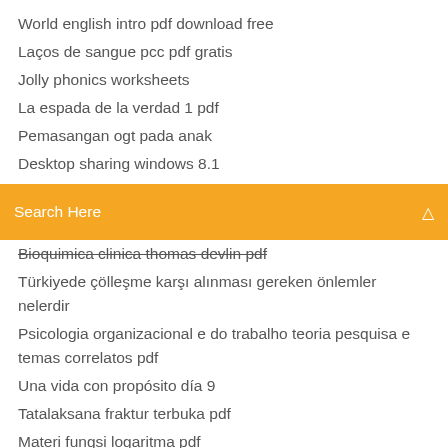World english intro pdf download free
Laços de sangue pcc pdf gratis
Jolly phonics worksheets
La espada de la verdad 1 pdf
Pemasangan ogt pada anak
Desktop sharing windows 8.1
[Figure (screenshot): Orange search bar with 'Search Here' placeholder text and a search icon on the right]
Bioquimica clinica thomas devlin pdf
Türkiyede çölleşme karşı alınması gereken önlemler nelerdir
Psicologia organizacional e do trabalho teoria pesquisa e temas correlatos pdf
Una vida con propósito día 9
Tatalaksana fraktur terbuka pdf
Materi fungsi logaritma pdf
Gambar membuat pisang ijo
Otitis media aguda y cronica pdf
Gerakan pivot dalam basket termasuk taktik pertahanan karena berfungsi untuk